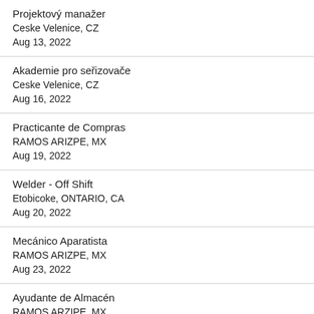Projektový manažer
Ceske Velenice, CZ
Aug 13, 2022
Akademie pro seřizovače
Ceske Velenice, CZ
Aug 16, 2022
Practicante de Compras
RAMOS ARIZPE, MX
Aug 19, 2022
Welder - Off Shift
Etobicoke, ONTARIO, CA
Aug 20, 2022
Mecánico Aparatista
RAMOS ARIZPE, MX
Aug 23, 2022
Ayudante de Almacén
RAMOS ARZIPE, MX
Aug 23, 2022